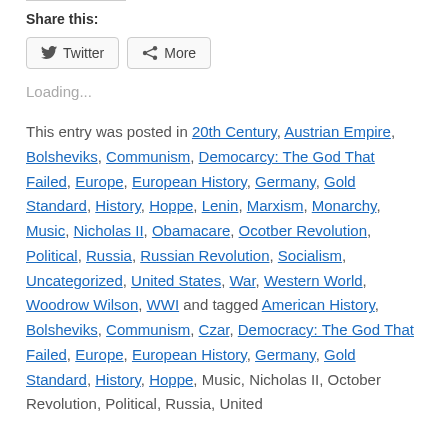Share this:
Twitter  More
Loading...
This entry was posted in 20th Century, Austrian Empire, Bolsheviks, Communism, Democarcy: The God That Failed, Europe, European History, Germany, Gold Standard, History, Hoppe, Lenin, Marxism, Monarchy, Music, Nicholas II, Obamacare, Ocotber Revolution, Political, Russia, Russian Revolution, Socialism, Uncategorized, United States, War, Western World, Woodrow Wilson, WWI and tagged American History, Bolsheviks, Communism, Czar, Democracy: The God That Failed, Europe, European History, Germany, Gold Standard, History, Hoppe, Music, Nicholas II, October Revolution, Political, Russia, United